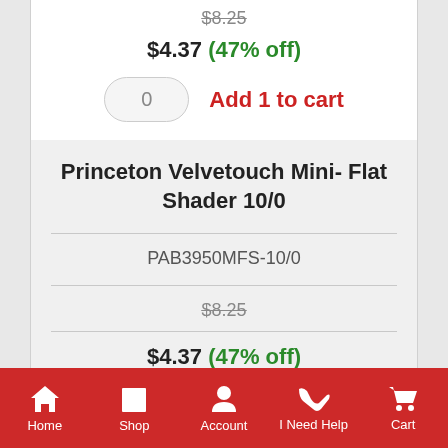$8.25 (strikethrough)
$4.37 (47% off)
Add 1 to cart
Princeton Velvetouch Mini- Flat Shader 10/0
PAB3950MFS-10/0
$8.25 (strikethrough)
$4.37 (47% off)
Home | Shop | Account | I Need Help | Cart